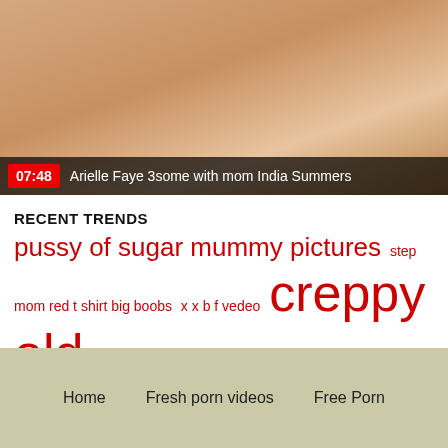[Figure (photo): Video thumbnail showing adult content with duration overlay and title bar reading '07:48 Arielle Faye 3some with mom India Summers']
RECENT TRENDS
pussy of sugar mummy pictures  step  mom red t shirt big boobs  x x b f vedeo  creppy old dad  xxxxxx be  porcxxx  yoga class room romantic sex he long  xx falam  xxxn com  page  hd boobs chusna
Home   Fresh porn videos   Free Porn